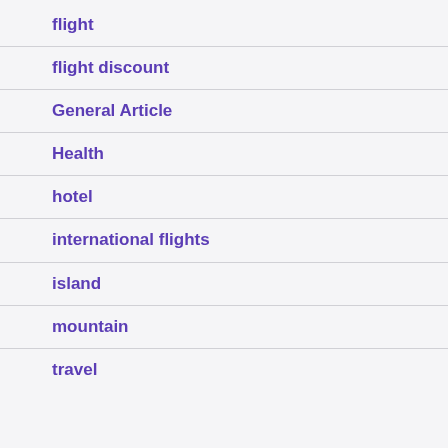flight
flight discount
General Article
Health
hotel
international flights
island
mountain
travel